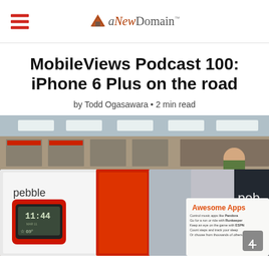aNewDomain
MobileViews Podcast 100: iPhone 6 Plus on the road
by Todd Ogasawara • 2 min read
[Figure (photo): Photo of Pebble smartwatch boxes on a retail store display shelf at what appears to be a Costco or similar warehouse store. The red and black Pebble watch is visible showing 11:44 time and 69° temperature. A sign reads 'Awesome Apps — Control music apps like Pandora, Go for a run or ride with Runkeeper, Keep an eye on the game with ESPN, Count steps and track your sleep, Or choose from thousands of others'. In the background a shopper is visible.]